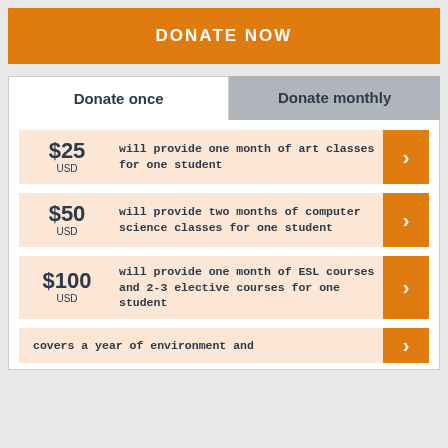DONATE NOW
Donate once
Donate monthly
$25 USD will provide one month of art classes for one student
$50 USD will provide two months of computer science classes for one student
$100 USD will provide one month of ESL courses and 2-3 elective courses for one student
covers a year of environment and